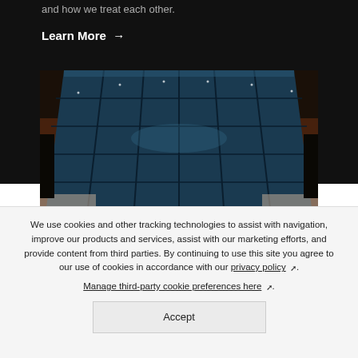and how we treat each other.
Learn More →
[Figure (photo): Overhead view of a large illuminated blue swimming pool or arena ceiling at night with warm ambient lighting and palm trees visible at the edges.]
We use cookies and other tracking technologies to assist with navigation, improve our products and services, assist with our marketing efforts, and provide content from third parties. By continuing to use this site you agree to our use of cookies in accordance with our privacy policy ↗.
Manage third-party cookie preferences here ↗.
Accept